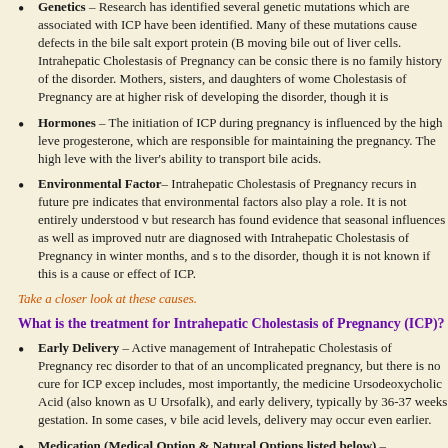Genetics – Research has identified several genetic mutations which are associated with ICP have been identified. Many of these mutations cause defects in the bile salt export protein (BSEP), which is responsible for moving bile out of liver cells. Intrahepatic Cholestasis of Pregnancy can be considered to occur even when there is no family history of the disorder. Mothers, sisters, and daughters of women who have had Intrahepatic Cholestasis of Pregnancy are at higher risk of developing the disorder, though it is not guaranteed.
Hormones – The initiation of ICP during pregnancy is influenced by the high levels of estrogen and progesterone, which are responsible for maintaining the pregnancy. The high levels of these hormones interfere with the liver's ability to transport bile acids.
Environmental Factor– Intrahepatic Cholestasis of Pregnancy recurs in future pregnancies, which also indicates that environmental factors also play a role. It is not entirely understood what these factors may be, but research has found evidence that seasonal influences as well as improved nutrition play a role. More women are diagnosed with Intrahepatic Cholestasis of Pregnancy in winter months, and selenium deficiency may contribute to the disorder, though it is not known if this is a cause or effect of ICP.
Take a closer look at these causes.
What is the treatment for Intrahepatic Cholestasis of Pregnancy (ICP)?
Early Delivery – Active management of Intrahepatic Cholestasis of Pregnancy reduces the risks of the disorder to that of an uncomplicated pregnancy, but there is no cure for ICP except delivery. Management includes, most importantly, the medicine Ursodeoxycholic Acid (also known as Urso, Actigall, and Ursofalk), and early delivery, typically by 36-37 weeks gestation. In some cases, with very high bile acid levels, delivery may occur even earlier.
Medication (Medical Option & Natural Options listed below) – Ursodeoxycholic...